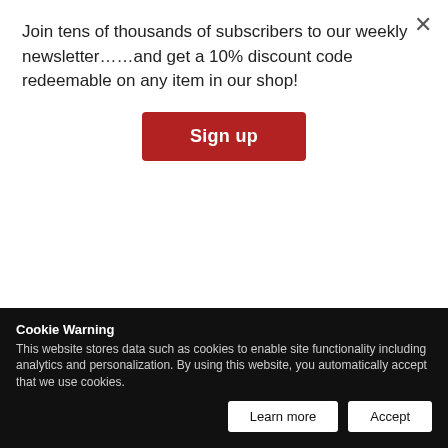Join tens of thousands of subscribers to our weekly newsletter……and get a 10% discount code redeemable on any item in our shop!
Sign up
vision of providing quality international products and services to the people of Qatar. This is the reason why we have emerged as one of the largest retail and distribution companies in the country. Today, the holding contributes to Qatar's growth through 400 international brands across 13 diversified lines of businesses. Our footprint is spread across industries such as FMCG and distribution, beverages, luxury, fashion, hospitality, production and events planning, information and communication technology, medical supplies, contracting, facility management and real estate development, printing, hypermarkets s… d… t… i… h… features that are the first of its kind in Qatar and the region. It will host
Cookie Warning
This website stores data such as cookies to enable site functionality including analytics and personalization. By using this website, you automatically accept that we use cookies.
Learn more
Accept